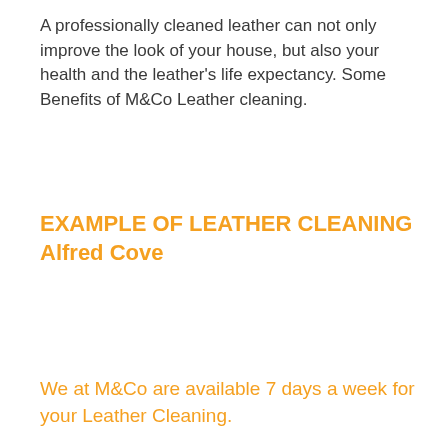A professionally cleaned leather can not only improve the look of your house, but also your health and the leather's life expectancy. Some Benefits of M&Co Leather cleaning.
EXAMPLE OF LEATHER CLEANING Alfred Cove
We at M&Co are available 7 days a week for your Leather Cleaning.